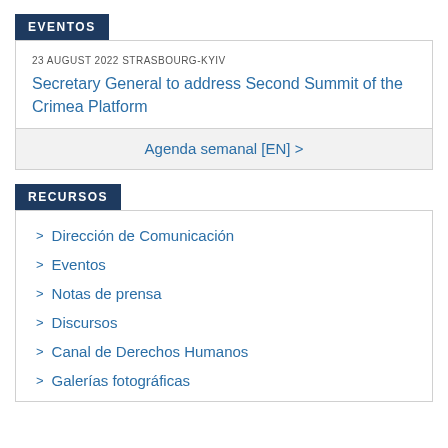EVENTOS
23 AUGUST 2022 STRASBOURG-KYIV
Secretary General to address Second Summit of the Crimea Platform
Agenda semanal [EN] >
RECURSOS
Dirección de Comunicación
Eventos
Notas de prensa
Discursos
Canal de Derechos Humanos
Galerías fotográficas